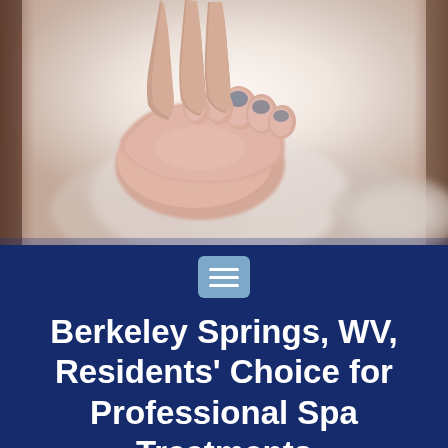[Figure (photo): A close-up photo of a foot massage or spa treatment — hands massaging a foot/toes, with soft blurred background suggesting a spa setting. Left and right edges show darker warm-toned objects.]
Berkeley Springs, WV, Residents' Choice for Professional Spa Treatments